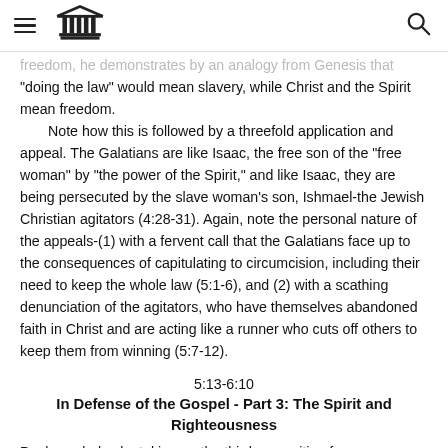≡ [temple icon] [search icon]
freedom, he demonstrates by an analogy from Genesis that "doing the law" would mean slavery, while Christ and the Spirit mean freedom.
   Note how this is followed by a threefold application and appeal. The Galatians are like Isaac, the free son of the "free woman" by "the power of the Spirit," and like Isaac, they are being persecuted by the slave woman's son, Ishmael-the Jewish Christian agitators (4:28-31). Again, note the personal nature of the appeals-(1) with a fervent call that the Galatians face up to the consequences of capitulating to circumcision, including their need to keep the whole law (5:1-6), and (2) with a scathing denunciation of the agitators, who have themselves abandoned faith in Christ and are acting like a runner who cuts off others to keep them from winning (5:7-12).
5:13-6:10
In Defense of the Gospel - Part 3: The Spirit and Righteousness
Paul concludes by taking up the third proposition from